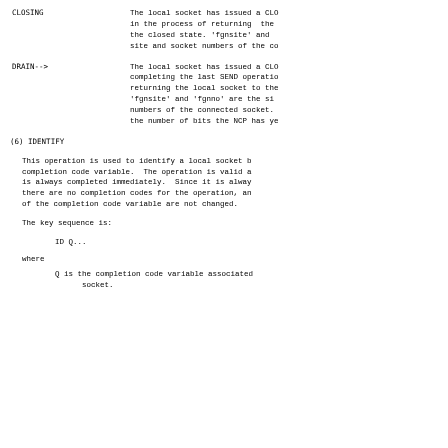CLOSING   The local socket has issued a CLO in the process of returning the the closed state. 'fgnsite' and site and socket numbers of the co
DRAIN-->   The local socket has issued a CLO completing the last SEND operatio returning the local socket to the 'fgnsite' and 'fgnno' are the si numbers of the connected socket. the number of bits the NCP has ye
(6) IDENTIFY
This operation is used to identify a local socket b completion code variable.  The operation is valid a is always completed immediately.  Since it is alway there are no completion codes for the operation, an of the completion code variable are not changed.
The key sequence is:
ID Q...
where
Q is the completion code variable associated socket.